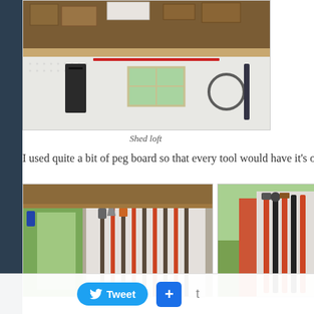[Figure (photo): Interior of a shed showing a loft above with wooden boxes and lumber stored on it, below is a pegboard wall with various tools hung on it including a folding chair, garden tools, hoses, and other equipment. A small window is visible.]
Shed loft
I used quite a bit of peg board so that every tool would have it's own
[Figure (photo): Interior view of a shed showing pegboard wall with long-handled garden tools (shovels, rakes, hoes) hung vertically on hooks. The shed interior with wooden framing visible.]
[Figure (photo): Exterior/interior view of a shed with pegboard mounted outside showing various tools hung on it including hammers and long-handled tools with red/orange handles. Wooden siding of the shed is visible.]